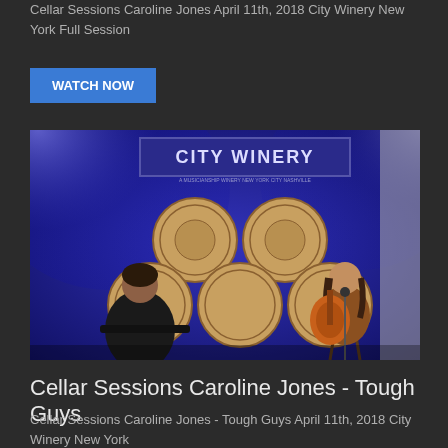Cellar Sessions Caroline Jones April 11th, 2018 City Winery New York Full Session
WATCH NOW
[Figure (photo): Performance photo at City Winery New York showing two musicians on stage with wine barrel backdrop and blue stage lighting. A woman plays acoustic guitar and sings at a microphone on the right, and a man plays keyboard on the left. A 'CITY WINERY' banner is visible in the background.]
Cellar Sessions Caroline Jones - Tough Guys
Cellar Sessions Caroline Jones - Tough Guys April 11th, 2018 City Winery New York